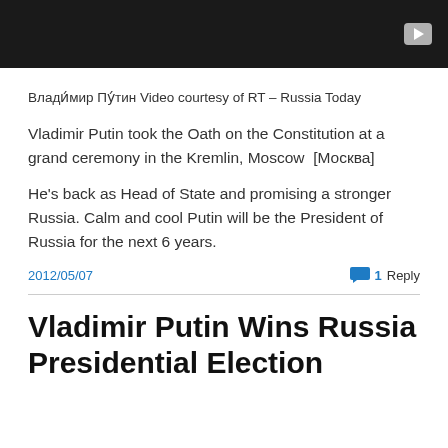[Figure (screenshot): Dark/black video thumbnail with a YouTube-style play button icon in the top-right corner]
Влади́мир Пу́тин Video courtesy of RT – Russia Today
Vladimir Putin took the Oath on the Constitution at a grand ceremony in the Kremlin, Moscow  [Москва]
He's back as Head of State and promising a stronger Russia. Calm and cool Putin will be the President of Russia for the next 6 years.
2012/05/07
1 Reply
Vladimir Putin Wins Russia Presidential Election